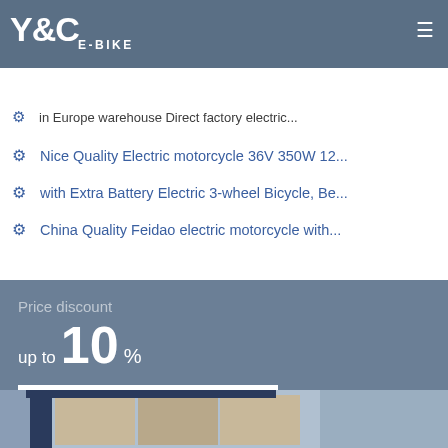Y&C E-BIKE
for Elder Reliable and Affordable Electric Bicycle
in Europe warehouse Direct factory electric...
Nice Quality Electric motorcycle 36V 350W 12...
with Extra Battery Electric 3-wheel Bicycle, Be...
China Quality Feidao electric motorcycle with...
Price discount
up to 10 %
MORE ABOUT DISCOUNTS
[Figure (photo): Warehouse or factory exterior photo showing stacked boxes and a blue structure]